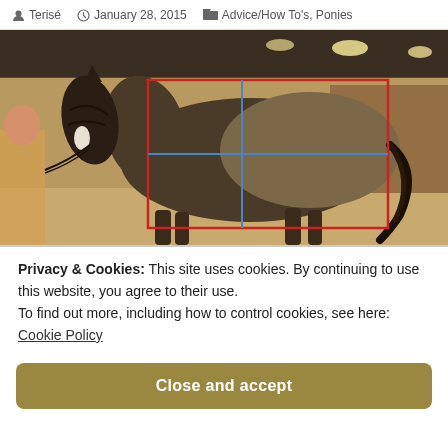Terisé  January 28, 2015  Advice/How To's, Ponies
[Figure (photo): A dark bay/grullo horse standing in an indoor riding arena, held by a person on the left. Red rectangular box and blue crosshair lines are overlaid on the horse's body, indicating measurement or conformation analysis points.]
Privacy & Cookies: This site uses cookies. By continuing to use this website, you agree to their use.
To find out more, including how to control cookies, see here:
Cookie Policy
Close and accept
(partial text visible at bottom)